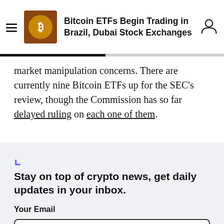Bitcoin ETFs Begin Trading in Brazil, Dubai Stock Exchanges
market manipulation concerns. There are currently nine Bitcoin ETFs up for the SEC's review, though the Commission has so far delayed ruling on each one of them.
Stay on top of crypto news, get daily updates in your inbox.

Your Email

you@emailaddress.com

Get it!